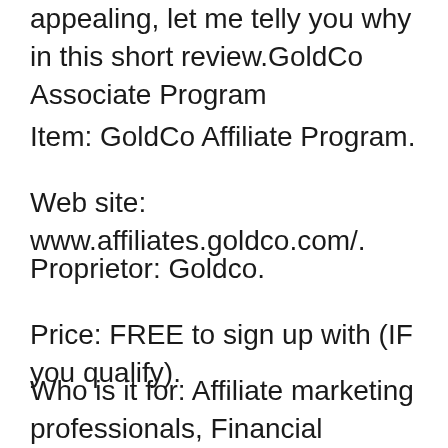appealing, let me telly you why in this short review.GoldCo Associate Program
Item: GoldCo Affiliate Program.
Web site: www.affiliates.goldco.com/.
Proprietor: Goldco.
Price: FREE to sign up with (IF you qualify).
Who is it for: Affiliate marketing professionals, Financial consultants.
Specific niche: Investing in general, Precious Metals, Cryptocurrency, Trading, and so on.
Total ranking: 4.9 out of 5 stars (4.9/ 5).